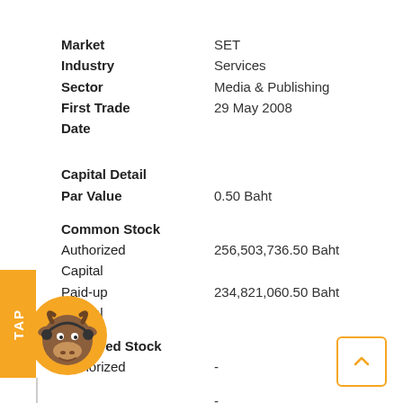Market: SET
Industry: Services
Sector: Media & Publishing
First Trade Date: 29 May 2008
Capital Detail
Par Value: 0.50 Baht
Common Stock
Authorized Capital: 256,503,736.50 Baht
Paid-up Capital: 234,821,060.50 Baht
Preferred Stock
Authorized: -
-